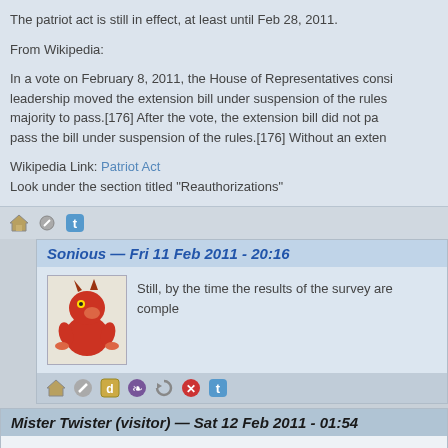The patriot act is still in effect, at least until Feb 28, 2011.

From Wikipedia:

In a vote on February 8, 2011, the House of Representatives considered the extension bill, but Republican leadership moved the extension bill under suspension of the rules, which required a two-thirds majority to pass.[176] After the vote, the extension bill did not pass because it failed to pass the bill under suspension of the rules.[176] Without an exten
Wikipedia Link: Patriot Act
Look under the section titled "Reauthorizations"
Sonious — Fri 11 Feb 2011 - 20:16
Still, by the time the results of the survey are comple
Mister Twister (visitor) — Sat 12 Feb 2011 - 01:54
Since "fandom" and "fanbase" are interchangeable, I find this idea po